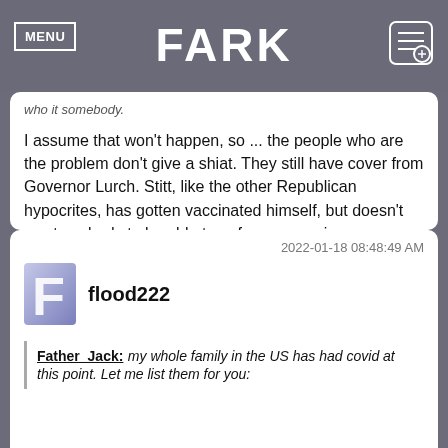MENU | FARK
who it somebody.
I assume that won't happen, so ... the people who are the problem don't give a shiat. They still have cover from Governor Lurch. Stitt, like the other Republican hypocrites, has gotten vaccinated himself, but doesn't want anybody to be able to enforce a vaccine "mandate," which is the only thing that will get selfish assholes to get vaccinated. So just like with the asshole in Floriduh, the hospitals filling up are his fault, he's just a little more low-profile about it.
2022-01-18 08:48:49 AM
flood222
Father_Jack: my whole family in the US has had covid at this point. Let me list them for you: